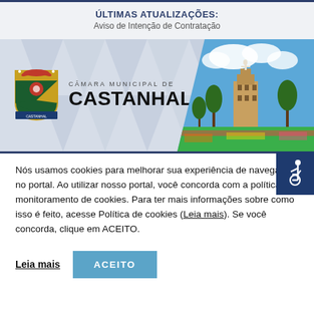ÚLTIMAS ATUALIZAÇÕES:
Aviso de Intenção de Contratação
[Figure (logo): Header banner with Câmara Municipal de Castanhal logo (coat of arms) and city photo showing Christ statue and building]
Nós usamos cookies para melhorar sua experiência de navegação no portal. Ao utilizar nosso portal, você concorda com a política de monitoramento de cookies. Para ter mais informações sobre como isso é feito, acesse Política de cookies (Leia mais). Se você concorda, clique em ACEITO.
Leia mais
ACEITO